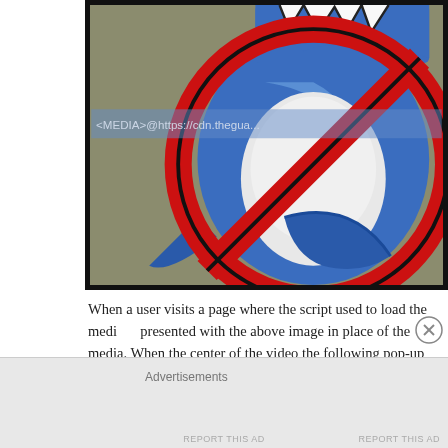[Figure (illustration): Cartoon illustration showing a 'no' symbol (red circle with diagonal bar) overlaid on a blue shark or monster figure with white teeth, against an olive/tan background. A semi-transparent blue banner overlays the center with text '<MEDIA>@https://cdn.theguar...'.]
When a user visits a page where the script used to load the media is presented with the above image in place of the media. When the center of the video the following pop-up is presented.
Advertisements